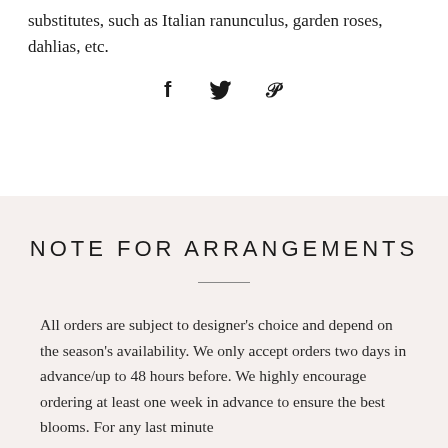substitutes, such as Italian ranunculus, garden roses, dahlias, etc.
[Figure (illustration): Social media share icons: Facebook (f), Twitter (bird), Pinterest (P)]
NOTE FOR ARRANGEMENTS
All orders are subject to designer's choice and depend on the season's availability. We only accept orders two days in advance/up to 48 hours before. We highly encourage ordering at least one week in advance to ensure the best blooms. For any last minute